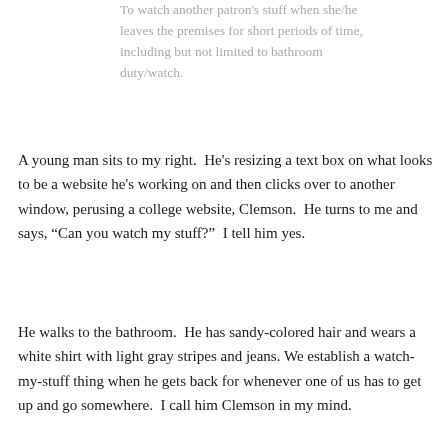To watch another patron's stuff when she/he leaves the premises for short periods of time, including but not limited to bathroom duty/watch.
A young man sits to my right.  He's resizing a text box on what looks to be a website he's working on and then clicks over to another window, perusing a college website, Clemson.  He turns to me and says, “Can you watch my stuff?”  I tell him yes.
He walks to the bathroom.  He has sandy-colored hair and wears a white shirt with light gray stripes and jeans. We establish a watch-my-stuff thing when he gets back for whenever one of us has to get up and go somewhere.  I call him Clemson in my mind.